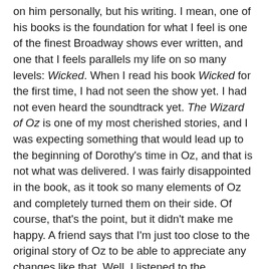on him personally, but his writing. I mean, one of his books is the foundation for what I feel is one of the finest Broadway shows ever written, and one that I feels parallels my life on so many levels: Wicked. When I read his book Wicked for the first time, I had not seen the show yet. I had not even heard the soundtrack yet. The Wizard of Oz is one of my most cherished stories, and I was expecting something that would lead up to the beginning of Dorothy's time in Oz, and that is not what was delivered. I was fairly disappointed in the book, as it took so many elements of Oz and completely turned them on their side. Of course, that's the point, but it didn't make me happy. A friend says that I'm just too close to the original story of Oz to be able to appreciate any changes like that. Well, I listened to the soundtrack for the stage version of Wicked and really liked it, and felt a little more distance between myself and Maguire's book, but was trying to figure out how some of the songs fit in with the book so hadn't made a final decision yet. Finally, joy of joys, I experienced the stage production, and officially hated the book. While the stage production still keeps in basically the same theme of the book, it transcends the book on every level, and the story of friendship between Elphaba and